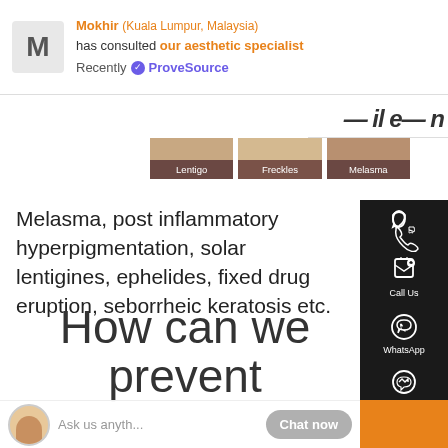Mokhir (Kuala Lumpur, Malaysia) has consulted our aesthetic specialist Recently ✓ ProveSource
[Figure (other): Three skin condition category tabs with brown headers: Lentigo, Freckles, Melasma]
Melasma, post inflammatory hyperpigmentation, solar lentigines, ephelides, fixed drug eruption, seborrheic keratosis etc.
[Figure (infographic): Right sidebar with dark background showing contact icons: Call Us (phone), WhatsApp, Facebook MSG, Our Outlets (location pin)]
How can we prevent
[Figure (other): Chat widget at bottom: avatar of support person, Ask us anyth... placeholder text, Chat now button]